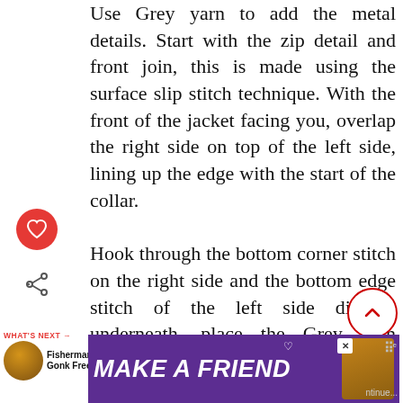Use Grey yarn to add the metal details. Start with the zip detail and front join, this is made using the surface slip stitch technique. With the front of the jacket facing you, overlap the right side on top of the left side, lining up the edge with the start of the collar. Hook through the bottom corner stitch on the right side and the bottom edge stitch of the left side directly underneath, place the Grey yarn behind and pull up a loop, hook through the next right edge stitch up and through the fabric of the left underneath loop and slip stitch through the first loop. Repeat to make a total of 4 surface
[Figure (other): Advertisement banner: purple background with 'MAKE A FRIEND' text, dog image, heart icon, and close button]